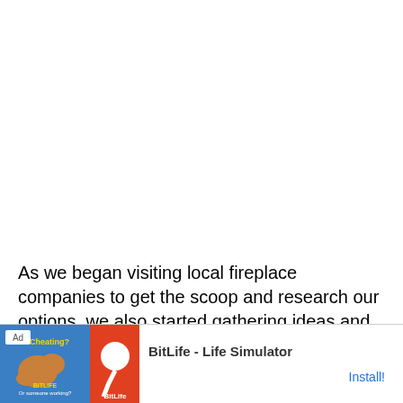As we began visiting local fireplace companies to get the scoop and research our options, we also started gathering ideas and coming up with a design for the built-ins.  The following items were on the built-in wish list:
W... (partially visible, cut off by ad)
[Figure (other): Mobile app advertisement banner for BitLife - Life Simulator. Shows 'Ad' label, a game graphic with a flexing arm cartoon on blue/orange background, app name 'BitLife - Life Simulator', and an 'Install!' button in blue.]